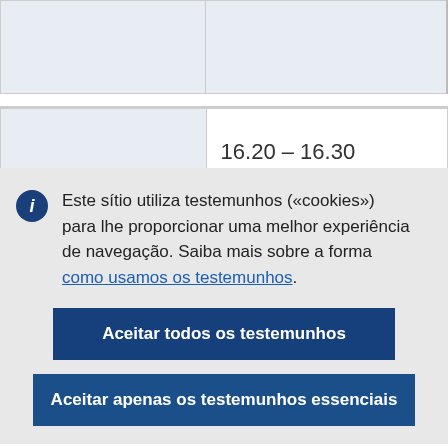|  |  |
|  | 16.20 – 16.30 |
Este sítio utiliza testemunhos («cookies») para lhe proporcionar uma melhor experiência de navegação. Saiba mais sobre a forma como usamos os testemunhos.
Aceitar todos os testemunhos
Aceitar apenas os testemunhos essenciais